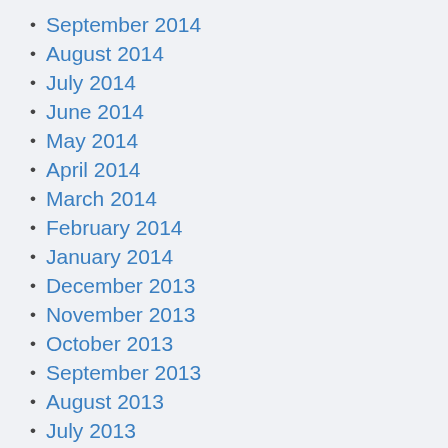September 2014
August 2014
July 2014
June 2014
May 2014
April 2014
March 2014
February 2014
January 2014
December 2013
November 2013
October 2013
September 2013
August 2013
July 2013
June 2013
May 2013
April 2013